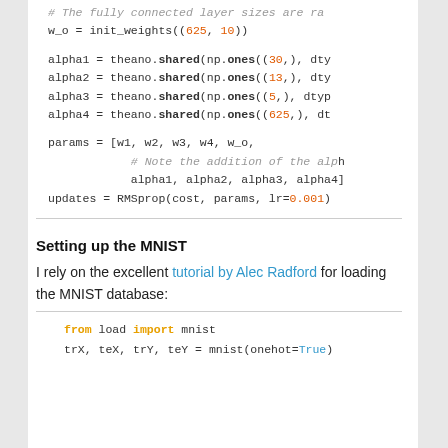# The fully connected layer sizes are ra
w_o = init_weights((625, 10))

alpha1 = theano.shared(np.ones((30,), dty
alpha2 = theano.shared(np.ones((13,), dty
alpha3 = theano.shared(np.ones((5,), dtyp
alpha4 = theano.shared(np.ones((625,), dt

params = [w1, w2, w3, w4, w_o,
          # Note the addition of the alph
          alpha1, alpha2, alpha3, alpha4]
updates = RMSprop(cost, params, lr=0.001)
Setting up the MNIST
I rely on the excellent tutorial by Alec Radford for loading the MNIST database:
from load import mnist
trX, teX, trY, teY = mnist(onehot=True)